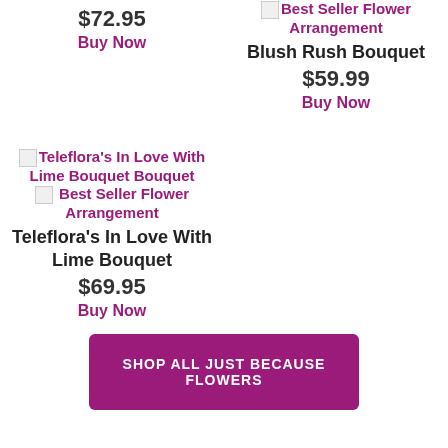$72.95
Buy Now
[Figure (photo): Blush Rush Bouquet product image (broken image placeholder) and Best Seller Flower Arrangement badge]
Best Seller Flower Arrangement
Blush Rush Bouquet
$59.99
Buy Now
[Figure (photo): Teleflora's In Love With Lime Bouquet product image (broken) and Best Seller Flower Arrangement badge]
Teleflora's In Love With Lime Bouquet Bouquet
Best Seller Flower Arrangement
Teleflora's In Love With Lime Bouquet
$69.95
Buy Now
SHOP ALL JUST BECAUSE FLOWERS